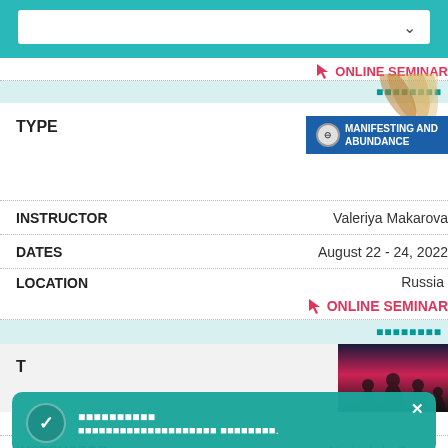[Figure (screenshot): Top teal navigation bar with white dropdown/search box and chevron arrow]
ONLINE SEMINAR (partially visible, top right)
Russian text (teal, partially visible)
TYPE
[Figure (illustration): Manifesting and Abundance badge with wheat/grain background, circle icon, and blue banner reading MANIFESTING AND ABUNDANCE]
INSTRUCTOR    Valeriya Makarova
DATES    August 22 - 24, 2022
LOCATION    Russia
🖱 ONLINE SEMINAR
Russian text (teal row)
T (TYPE heading, partially visible second event)
Toast: Russian title and Russian subtitle
INSTRUCTOR    Nadezhda Osinova (partially visible)